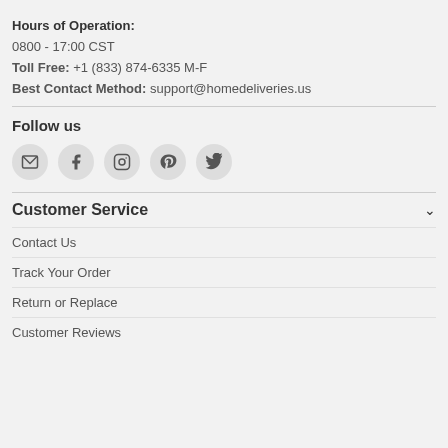Hours of Operation:
0800 - 17:00 CST
Toll Free: +1 (833) 874-6335 M-F
Best Contact Method: support@homedeliveries.us
Follow us
[Figure (infographic): Row of 5 social media icons (email, Facebook, Instagram, Pinterest, Twitter) inside grey circular buttons]
Customer Service
Contact Us
Track Your Order
Return or Replace
Customer Reviews